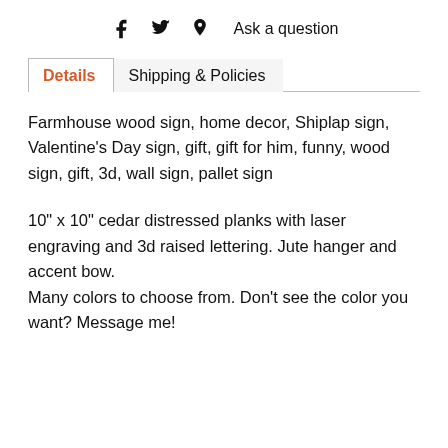f  Twitter  Pinterest  Ask a question
Details   Shipping & Policies
Farmhouse wood sign, home decor, Shiplap sign, Valentine's Day sign, gift, gift for him, funny, wood sign, gift, 3d, wall sign, pallet sign
10" x 10" cedar distressed planks with laser engraving and 3d raised lettering. Jute hanger and accent bow.
Many colors to choose from. Don't see the color you want? Message me!